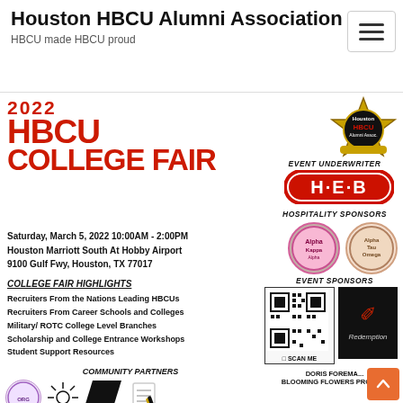Houston HBCU Alumni Association
HBCU made HBCU proud
[Figure (screenshot): HBCU College Fair event flyer with red bold text '2022 HBCU COLLEGE FAIR', event details, highlights, sponsor logos including H-E-B, hospitality sponsors, event sponsors with QR code, community partners including NCBW 100, Houston Health Dept, and other organizations.]